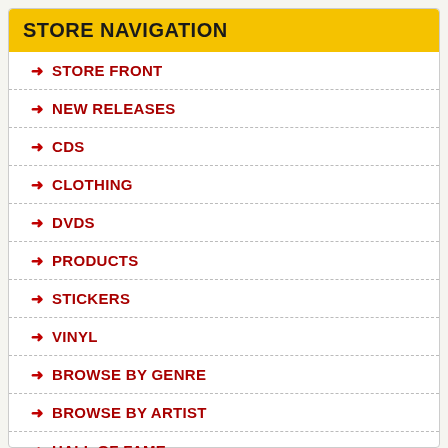STORE NAVIGATION
➜ STORE FRONT
➜ NEW RELEASES
➜ CDS
➜ CLOTHING
➜ DVDS
➜ PRODUCTS
➜ STICKERS
➜ VINYL
➜ BROWSE BY GENRE
➜ BROWSE BY ARTIST
➜ HALL OF FAME